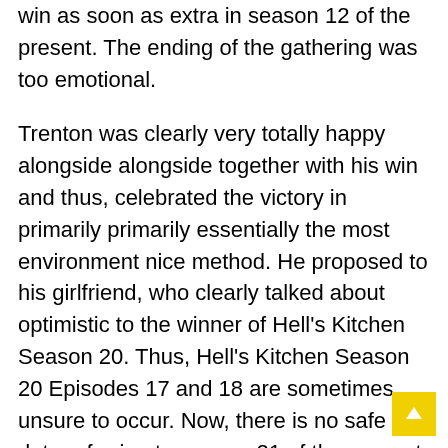win as soon as extra in season 12 of the present. The ending of the gathering was too emotional.
Trenton was clearly very totally happy alongside alongside together with his win and thus, celebrated the victory in primarily primarily essentially the most environment nice method. He proposed to his girlfriend, who clearly talked about optimistic to the winner of Hell’s Kitchen Season 20. Thus, Hell’s Kitchen Season 20 Episodes 17 and 18 are sometimes unsure to occur. Now, there is no safe data referring to season 21 of the present, given the truth that this season has merely ended for us.